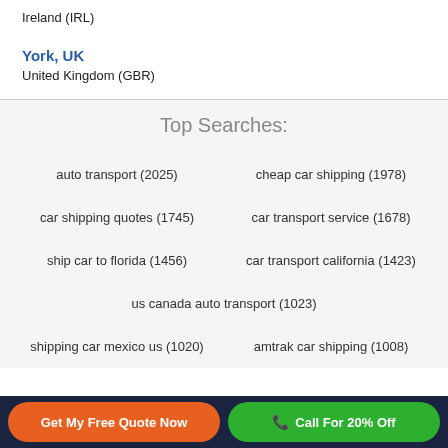Ireland (IRL)
York, UK
United Kingdom (GBR)
Top Searches:
auto transport (2025)
cheap car shipping (1978)
car shipping quotes (1745)
car transport service (1678)
ship car to florida (1456)
car transport california (1423)
us canada auto transport (1023)
shipping car mexico us (1020)
amtrak car shipping (1008)
Get My Free Quote Now | Call For 20% Off